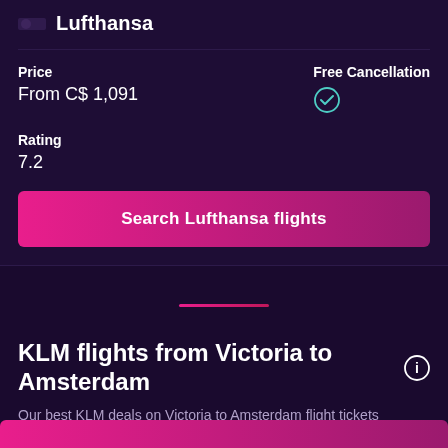Lufthansa
Price
From C$ 1,091
Free Cancellation
Rating
7.2
Search Lufthansa flights
KLM flights from Victoria to Amsterdam
Our best KLM deals on Victoria to Amsterdam flight tickets